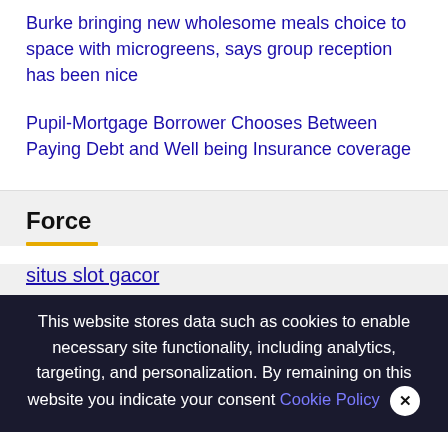Burke bringing new wholesome meals choice to space with microgreens, says group reception has been nice
Pupil-Mortgage Borrower Chooses Between Paying Debt and Well being Insurance coverage
Force
situs slot gacor
We use cookies on our website to give you the most relevant experience by remembering your preferences and repeat visits. By clicking "Accept All", you consent to the use of ALL t… provide a controlled consent.
This website stores data such as cookies to enable necessary site functionality, including analytics, targeting, and personalization. By remaining on this website you indicate your consent Cookie Policy